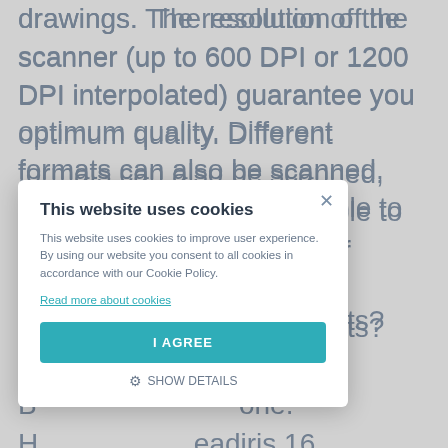drawings. The resolution of the scanner (up to 600 DPI or 1200 DPI interpolated) guarantee you optimum quality. Different formats can also be scanned, which also makes it possible to scan identity documents or business cards. Want to scan several sheets? The IRIScan B... ...eadiris 16 s... nner, you c... s into a s... B... staples f... Otherwise, t...
This website uses cookies

This website uses cookies to improve user experience. By using our website you consent to all cookies in accordance with our Cookie Policy.
Read more about cookies

I AGREE

SHOW DETAILS